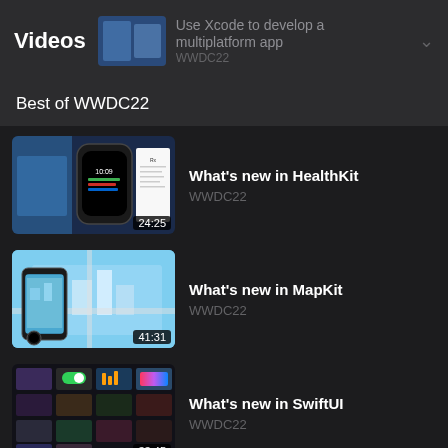Videos
Use Xcode to develop a multiplatform app | WWDC22
Best of WWDC22
[Figure (screenshot): Thumbnail for 'What's new in HealthKit' showing Apple Watch and health-related UI, duration 24:25]
What's new in HealthKit
WWDC22
[Figure (screenshot): Thumbnail for 'What's new in MapKit' showing map view with buildings, duration 41:31]
What's new in MapKit
WWDC22
[Figure (screenshot): Thumbnail for 'What's new in SwiftUI' showing UI component grid, duration 33:45]
What's new in SwiftUI
WWDC22
[Figure (screenshot): Thumbnail for 'What's new in Vision' showing document/text recognition UI]
What's new in Vision
WWDC22